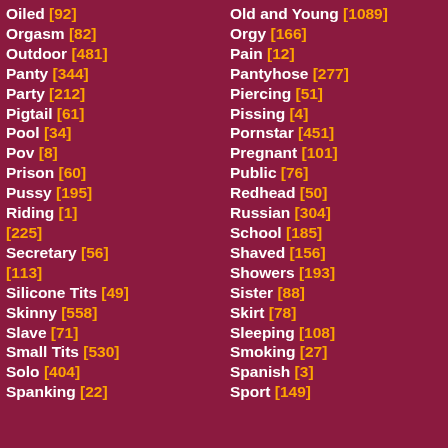Oiled [92]
Orgasm [82]
Outdoor [481]
Panty [344]
Party [212]
Pigtail [61]
Pool [34]
Pov [8]
Prison [60]
Pussy [195]
Riding [1]
[225]
Secretary [56]
[113]
Silicone Tits [49]
Skinny [558]
Slave [71]
Small Tits [530]
Solo [404]
Spanking [22]
Old and Young [1089]
Orgy [166]
Pain [12]
Pantyhose [277]
Piercing [51]
Pissing [4]
Pornstar [451]
Pregnant [101]
Public [76]
Redhead [50]
Russian [304]
School [185]
Shaved [156]
Showers [193]
Sister [88]
Skirt [78]
Sleeping [108]
Smoking [27]
Spanish [3]
Sport [149]